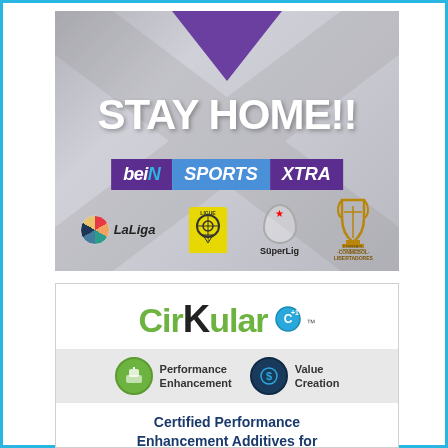[Figure (infographic): beIN Sports XTRA Stay Home promotional banner featuring LaLiga, Ligue 1, SüperLig, and CONMEBOL Libertadores logos on a grey geometric background with purple triangle at top.]
[Figure (infographic): CirKular brand advertisement showing logo with green and dark text, a grey features bar with Performance Enhancement and Value Creation icons, and text about Certified Performance Enhancement Additives for Plastics.]